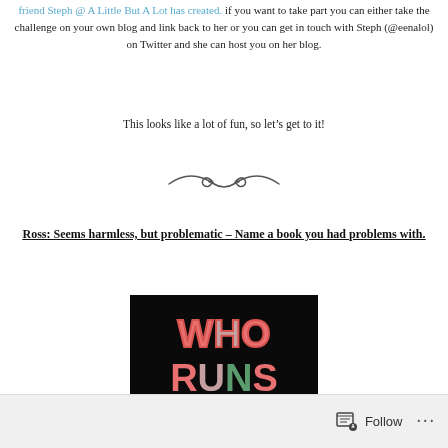friend Steph @ A Little But A Lot has created. if you want to take part you can either take the challenge on your own blog and link back to her or you can get in touch with Steph (@eenalol) on Twitter and she can host you on her blog.
This looks like a lot of fun, so let's get to it!
[Figure (illustration): Decorative curly divider / ornamental swirl line]
Ross: Seems harmless, but problematic – Name a book you had problems with.
[Figure (photo): Book cover with black background and colorful floral-patterned text reading 'WHO RUNS THE WORLD?']
Follow ···